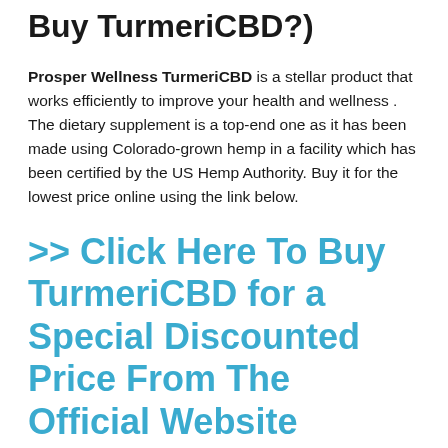Buy TurmeriCBD?)
Prosper Wellness TurmeriCBD is a stellar product that works efficiently to improve your health and wellness . The dietary supplement is a top-end one as it has been made using Colorado-grown hemp in a facility which has been certified by the US Hemp Authority. Buy it for the lowest price online using the link below.
>> Click Here To Buy TurmeriCBD for a Special Discounted Price From The Official Website